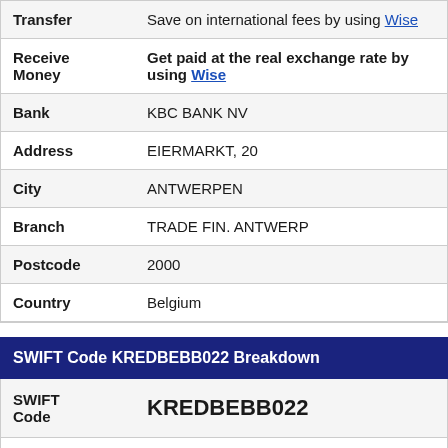|  |  |
| --- | --- |
| Transfer | Save on international fees by using Wise |
| Receive Money | Get paid at the real exchange rate by using Wise |
| Bank | KBC BANK NV |
| Address | EIERMARKT, 20 |
| City | ANTWERPEN |
| Branch | TRADE FIN. ANTWERP |
| Postcode | 2000 |
| Country | Belgium |
SWIFT Code KREDBEBB022 Breakdown
|  |  |
| --- | --- |
| SWIFT Code | KREDBEBB022 |
| Bank |  |